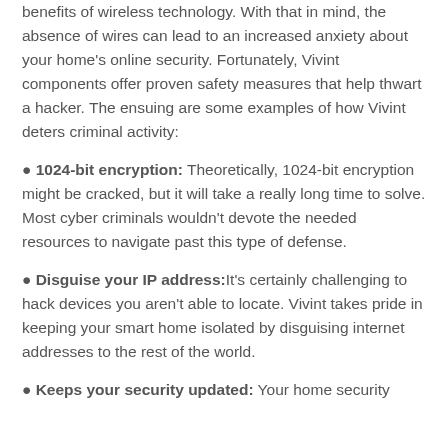benefits of wireless technology. With that in mind, the absence of wires can lead to an increased anxiety about your home's online security. Fortunately, Vivint components offer proven safety measures that help thwart a hacker. The ensuing are some examples of how Vivint deters criminal activity:
1024-bit encryption: Theoretically, 1024-bit encryption might be cracked, but it will take a really long time to solve. Most cyber criminals wouldn't devote the needed resources to navigate past this type of defense.
Disguise your IP address: It's certainly challenging to hack devices you aren't able to locate. Vivint takes pride in keeping your smart home isolated by disguising internet addresses to the rest of the world.
Keeps your security updated: Your home security